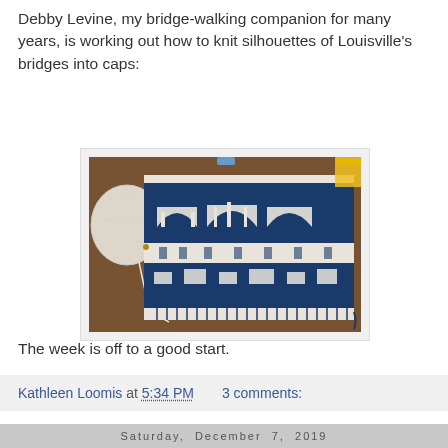Debby Levine, my bridge-walking companion for many years, is working out how to knit silhouettes of Louisville's bridges into caps:
[Figure (photo): A work-in-progress knitted cap laid flat on a dark wooden table, showing a navy blue and cream/white pattern depicting silhouettes of bridges. There is a ball of white yarn to the left and a yellow item in the upper right corner.]
The week is off to a good start.
Kathleen Loomis at 5:34 PM   3 comments:
Saturday, December 7, 2019